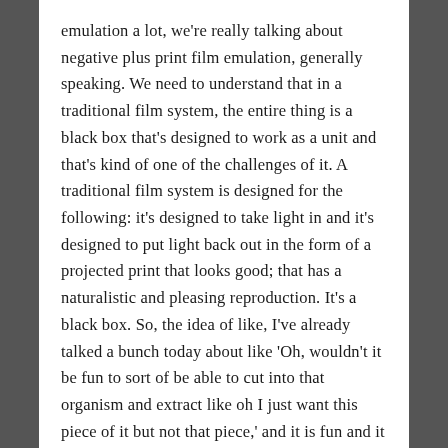emulation a lot, we're really talking about negative plus print film emulation, generally speaking. We need to understand that in a traditional film system, the entire thing is a black box that's designed to work as a unit and that's kind of one of the challenges of it. A traditional film system is designed for the following: it's designed to take light in and it's designed to put light back out in the form of a projected print that looks good; that has a naturalistic and pleasing reproduction. It's a black box. So, the idea of like, I've already talked a bunch today about like 'Oh, wouldn't it be fun to sort of be able to cut into that organism and extract like oh I just want this piece of it but not that piece,' and it is fun and it can be cool. One of the least sensible axes to cut into that organism along is the axis or the dividing point between a negative and a print because there's a ton of the behavior of a film negative that is done in preparation for the fact that it's going to be going to a film print. So, film negative was never designed